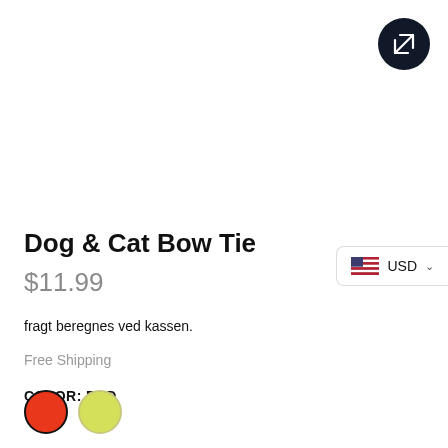[Figure (other): Dark circular expand/fullscreen button with white arrow icon in top right corner]
Dog & Cat Bow Tie
$11.99
fragt beregnes ved kassen.
Free Shipping
COLOR: RED
[Figure (other): Two color swatches: red circle with black border and yellow-green circle]
[Figure (other): Currency selector showing US flag and USD with dropdown chevron]